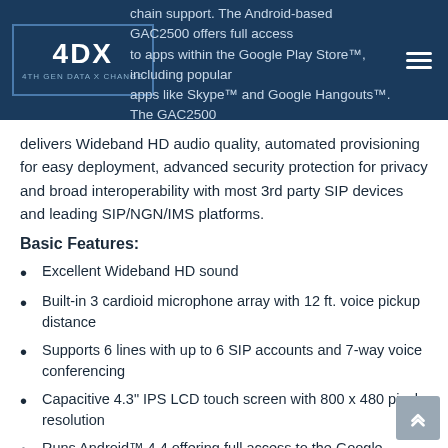chain support. The Android-based GAC2500 offers full access to apps within the Google Play Store™, including popular apps like Skype™ and Google Hangouts™. The GAC2500 delivers Wideband HD audio quality, automated provisioning for easy deployment, advanced security protection for privacy and broad interoperability with most 3rd party SIP devices and leading SIP/NGN/IMS platforms.
Basic Features:
Excellent Wideband HD sound
Built-in 3 cardioid microphone array with 12 ft. voice pickup distance
Supports 6 lines with up to 6 SIP accounts and 7-way voice conferencing
Capacitive 4.3" IPS LCD touch screen with 800 x 480 pixel resolution
Runs Android™ 4.4 offering full access to the Google Store™ for apps such as Skype™, Google Hangouts™ well as custom Android™ apps